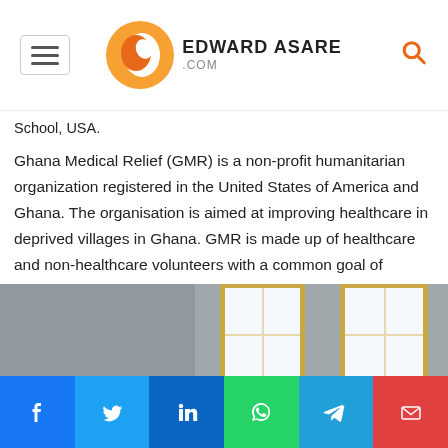EDWARD ASARE .COM
School, USA.
Ghana Medical Relief (GMR) is a non-profit humanitarian organization registered in the United States of America and Ghana. The organisation is aimed at improving healthcare in deprived villages in Ghana. GMR is made up of healthcare and non-healthcare volunteers with a common goal of delivering better healthcare to the people of Ghana.
[Figure (photo): Interior room with windows with orange/yellow frames, light coming through, grey-brown walls]
[Figure (other): Social media share bar with Facebook, Twitter, LinkedIn, WhatsApp, Telegram, and Email buttons]